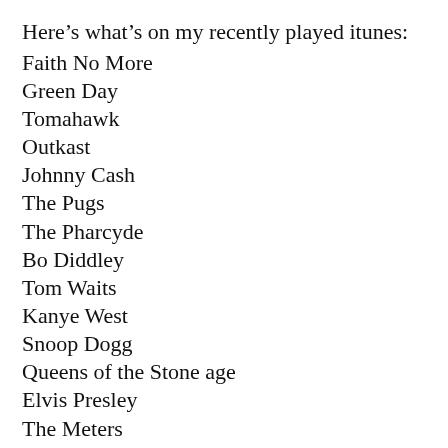Here’s what’s on my recently played itunes:
Faith No More
Green Day
Tomahawk
Outkast
Johnny Cash
The Pugs
The Pharcyde
Bo Diddley
Tom Waits
Kanye West
Snoop Dogg
Queens of the Stone age
Elvis Presley
The Meters